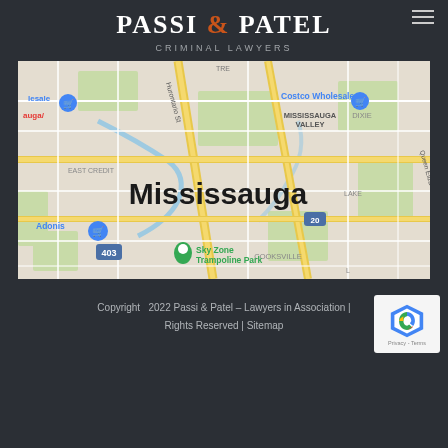Passi & Patel Criminal Lawyers
PASSI & PATEL — CRIMINAL LAWYERS
[Figure (map): Google Maps screenshot showing Mississauga, Ontario area with streets, landmarks including Costco Wholesale, Sky Zone Trampoline Park, Adonis, Mississauga Valley, East Credit, Cooksville, Dixie neighbourhoods. Highway 403 visible.]
Copyright 2022 Passi & Patel – Lawyers in Association | Rights Reserved | Sitemap